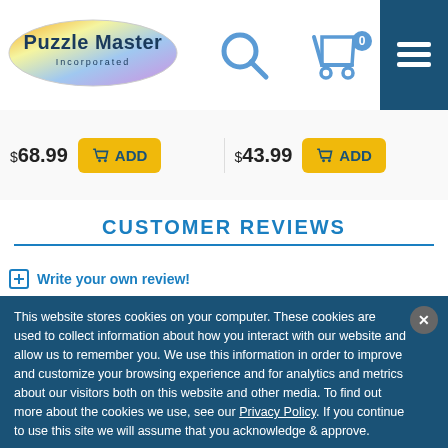[Figure (logo): Puzzle Master Incorporated logo - oval shaped with colorful gradient]
[Figure (other): Search icon (magnifying glass)]
[Figure (other): Shopping cart icon with 0 badge]
[Figure (other): Hamburger menu icon on dark blue background]
$ 68.99
ADD
$ 43.99
ADD
CUSTOMER REVIEWS
Write your own review!
This website stores cookies on your computer. These cookies are used to collect information about how you interact with our website and allow us to remember you. We use this information in order to improve and customize your browsing experience and for analytics and metrics about our visitors both on this website and other media. To find out more about the cookies we use, see our Privacy Policy. If you continue to use this site we will assume that you acknowledge & approve.
I AGREE